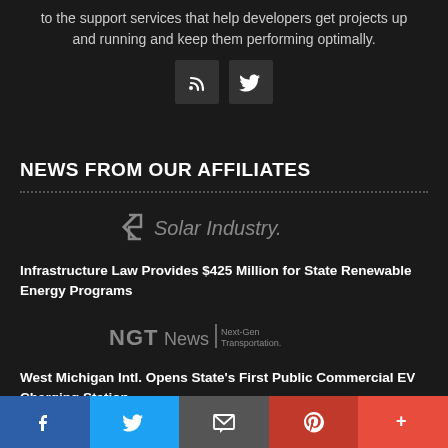to the support services that help developers get projects up and running and keep them performing optimally.
[Figure (illustration): RSS feed icon and Twitter bird icon as white symbols on dark square backgrounds]
NEWS FROM OUR AFFILIATES
[Figure (logo): Solar Industry logo with stylized S icon and italic text 'Solar Industry.']
Infrastructure Law Provides $425 Million for State Renewable Energy Programs
[Figure (logo): NGT News | Next-Gen Transportation. logo in gray text]
West Michigan Intl. Opens State's First Public Commercial EV Charging Station
[Figure (infographic): Bottom share bar with Facebook, Twitter, email, Pinterest, and more buttons]